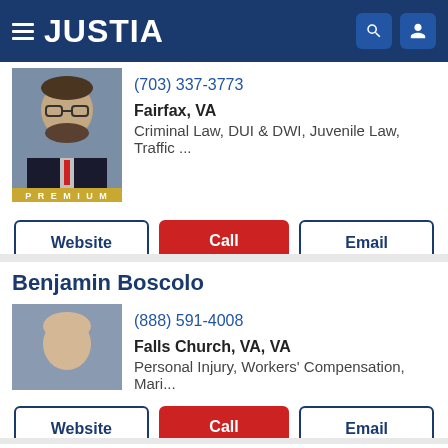[Figure (screenshot): Justia website header with hamburger menu, JUSTIA logo, search icon, and user icon on dark blue background]
(703) 337-3773
Fairfax, VA
Criminal Law, DUI & DWI, Juvenile Law, Traffic ...
PREMIUM
Website | Call | Email
Benjamin Boscolo
(888) 591-4008
Falls Church, VA, VA
Personal Injury, Workers' Compensation, Mari...
PREMIUM
Website | Call | Email
Benjamin C. Charlton